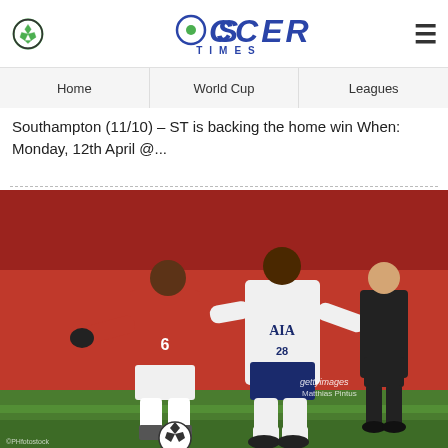SOCCER TIMES
Home | World Cup | Leagues
Southampton (11/10) – ST is backing the home win When: Monday, 12th April @...
[Figure (photo): Football match action photo showing a Manchester United player (number 6) in red kit competing for the ball against a Tottenham Hotspur player (number 28) in white AIA kit, with a referee in black running behind them. Getty Images watermark visible. Crowd stands visible in background.]